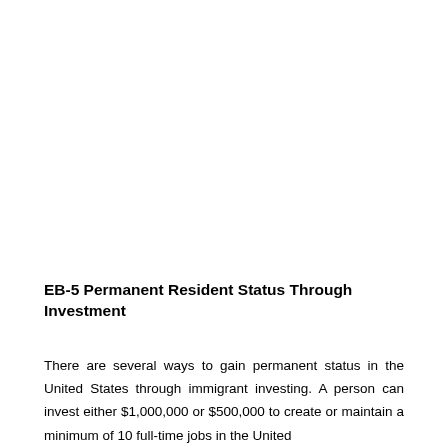EB-5 Permanent Resident Status Through Investment
There are several ways to gain permanent status in the United States through immigrant investing. A person can invest either $1,000,000 or $500,000 to create or maintain a minimum of 10 full-time jobs in the United